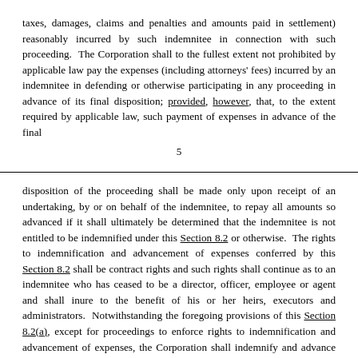taxes, damages, claims and penalties and amounts paid in settlement) reasonably incurred by such indemnitee in connection with such proceeding. The Corporation shall to the fullest extent not prohibited by applicable law pay the expenses (including attorneys' fees) incurred by an indemnitee in defending or otherwise participating in any proceeding in advance of its final disposition; provided, however, that, to the extent required by applicable law, such payment of expenses in advance of the final
5
disposition of the proceeding shall be made only upon receipt of an undertaking, by or on behalf of the indemnitee, to repay all amounts so advanced if it shall ultimately be determined that the indemnitee is not entitled to be indemnified under this Section 8.2 or otherwise. The rights to indemnification and advancement of expenses conferred by this Section 8.2 shall be contract rights and such rights shall continue as to an indemnitee who has ceased to be a director, officer, employee or agent and shall inure to the benefit of his or her heirs, executors and administrators. Notwithstanding the foregoing provisions of this Section 8.2(a), except for proceedings to enforce rights to indemnification and advancement of expenses, the Corporation shall indemnify and advance expenses to an indemnitee in connection with a proceeding (or part thereof) initiated by such indemnitee only if such proceeding (or part thereof) was authorized by the Board.